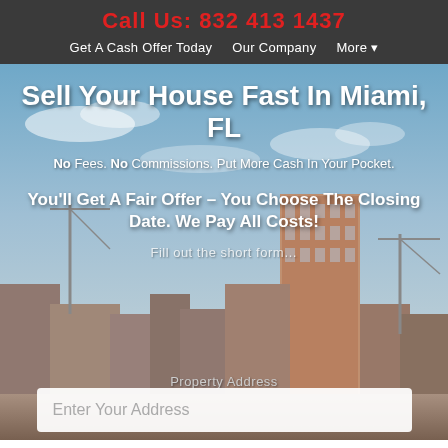Call Us: 832 413 1437
Get A Cash Offer Today   Our Company   More ▾
Sell Your House Fast In Miami, FL
No Fees. No Commissions. Put More Cash In Your Pocket.
You'll Get A Fair Offer – You Choose The Closing Date. We Pay All Costs!
Fill out the short form…
Property Address
Enter Your Address